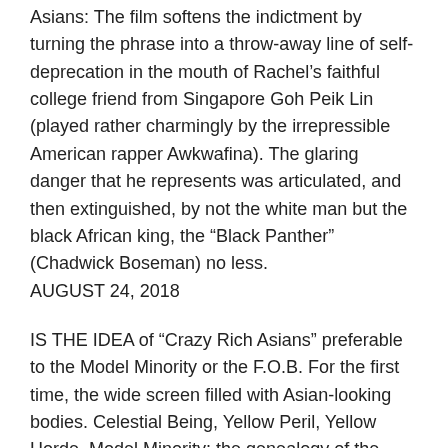Asians: The film softens the indictment by turning the phrase into a throw-away line of self-deprecation in the mouth of Rachel's faithful college friend from Singapore Goh Peik Lin (played rather charmingly by the irrepressible American rapper Awkwafina). The glaring danger that he represents was articulated, and then extinguished, by not the white man but the black African king, the “Black Panther” (Chadwick Boseman) no less. AUGUST 24, 2018
IS THE IDEA of “Crazy Rich Asians” preferable to the Model Minority or the F.O.B. For the first time, the wide screen filled with Asian-looking bodies. Celestial Being, Yellow Peril, Yellow Horde, Model Minority: the genealogy of the reception of Asians and people of Asian descent in the Euro-American imagination has always lubricated one or another. There is a profound pleasure in all this recognition (even self-misrecognition is recognition) for